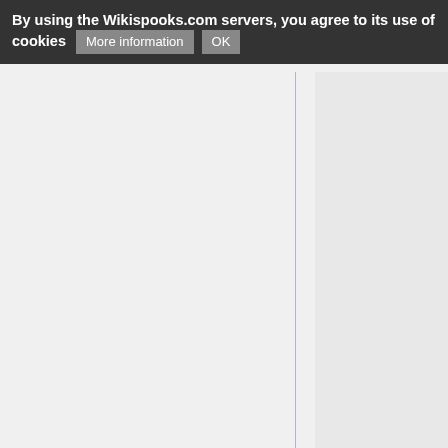By using the Wikispooks.com servers, you agree to its use of cookies  More information  OK
Template:Contain...
Template:Convicte...
Template:DatedOb...
Template:Display c...
Template:Display d...
Template:Display i...
Template:Display i... source)
Template:Display b...
Template:DisplayA... source)
Template:DisplayP...
Template:Employe...
Template:Event (v...
Template:Example...
Template:Example...
Template:External...